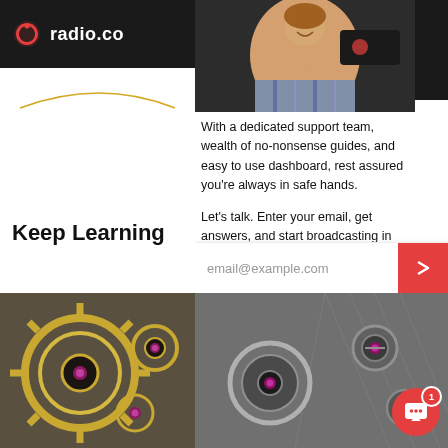radio.co
[Figure (photo): Smiling man in plaid shirt in front of radio.co branded equipment]
With a dedicated support team, wealth of no-nonsense guides, and easy to use dashboard, rest assured you're always in safe hands.
Let's talk. Enter your email, get answers, and start broadcasting in no time.
Keep Learning
Production
Best Radio Au...
[Figure (photo): Close-up of mechanical watch gears and watch components on grey surface]